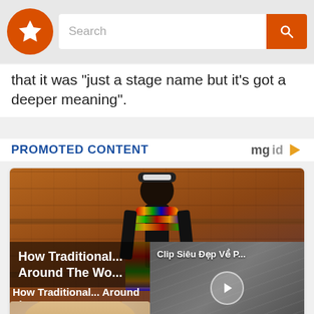Search
that it was "just a stage name but it's got a deeper meaning".
PROMOTED CONTENT
[Figure (photo): Tribal person wearing traditional colorful beaded jewelry and adornments standing in front of a cracked clay/mud wall. A video overlay in the bottom-right shows 'Clip Siêu Đẹp Về P...' with a play button. A close (X) button is visible.]
How Traditional... Around The Wo...
[Figure (photo): Partial photo of a woman with blonde hair visible at bottom of page.]